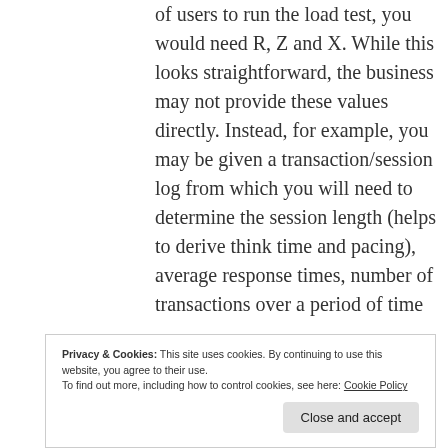of users to run the load test, you would need R, Z and X. While this looks straightforward, the business may not provide these values directly. Instead, for example, you may be given a transaction/session log from which you will need to determine the session length (helps to derive think time and pacing), average response times, number of transactions over a period of time
Privacy & Cookies: This site uses cookies. By continuing to use this website, you agree to their use.
To find out more, including how to control cookies, see here: Cookie Policy